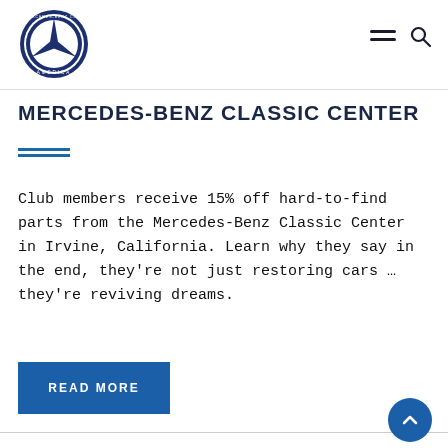Mercedes-Benz Club of America logo and navigation
MERCEDES-BENZ CLASSIC CENTER
Club members receive 15% off hard-to-find parts from the Mercedes-Benz Classic Center in Irvine, California. Learn why they say in the end, they're not just restoring cars ... they're reviving dreams.
READ MORE